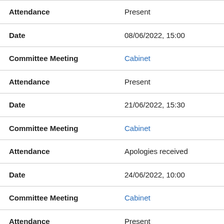| Attendance | Present |
| Date | 08/06/2022, 15:00 |
| Committee Meeting | Cabinet |
| Attendance | Present |
| Date | 21/06/2022, 15:30 |
| Committee Meeting | Cabinet |
| Attendance | Apologies received |
| Date | 24/06/2022, 10:00 |
| Committee Meeting | Cabinet |
| Attendance | Present |